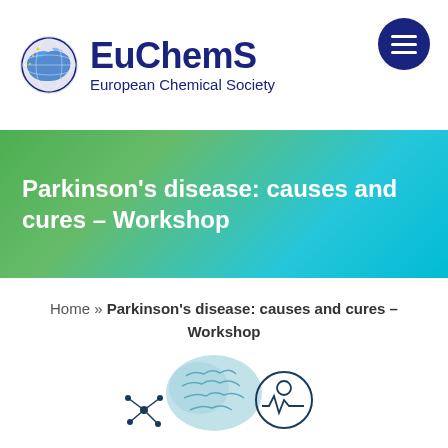EuChemS European Chemical Society
Parkinson's disease: causes and cures – Workshop
Home » Parkinson's disease: causes and cures – Workshop
[Figure (illustration): Scientific illustration showing a brain, molecular structure, and heartbeat/medical symbols related to Parkinson's disease research]